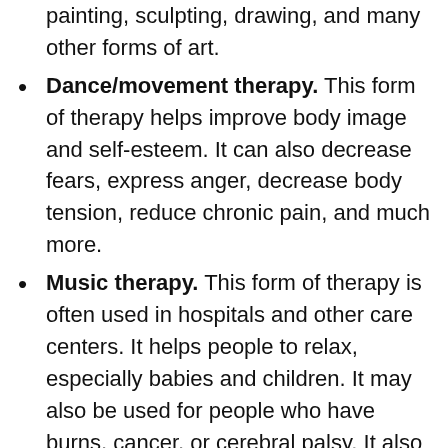painting, sculpting, drawing, and many other forms of art.
Dance/movement therapy. This form of therapy helps improve body image and self-esteem. It can also decrease fears, express anger, decrease body tension, reduce chronic pain, and much more.
Music therapy. This form of therapy is often used in hospitals and other care centers. It helps people to relax, especially babies and children. It may also be used for people who have burns, cancer, or cerebral palsy. It also works well for people with other brain disorders and neurological conditions, such as Alzheimer disease.
People who practice art, dance/movement, and music therapy have specialized educational training. Art